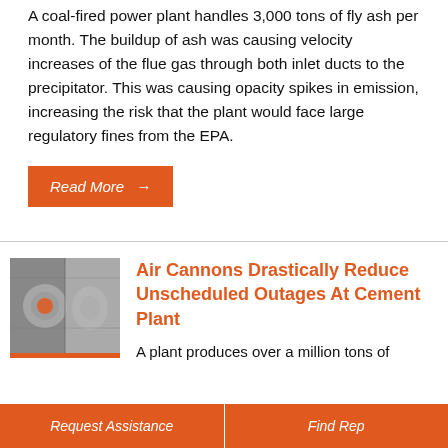A coal-fired power plant handles 3,000 tons of fly ash per month. The buildup of ash was causing velocity increases of the flue gas through both inlet ducts to the precipitator. This was causing opacity spikes in emission, increasing the risk that the plant would face large regulatory fines from the EPA.
Read More →
[Figure (photo): Industrial equipment photo showing air cannon or related machinery inside a cement plant]
Air Cannons Drastically Reduce Unscheduled Outages At Cement Plant
A plant produces over a million tons of
Request Assistance | Find Rep